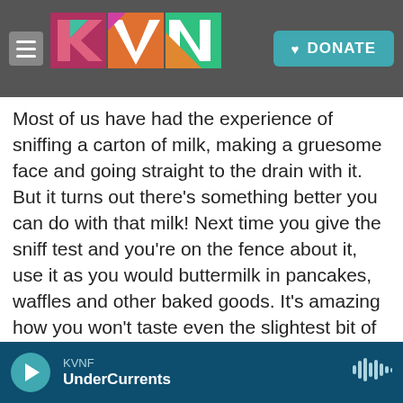[Figure (screenshot): KVNF radio website top navigation bar with hamburger menu, KVNF colorful logo, and teal DONATE button on a dark background]
Most of us have had the experience of sniffing a carton of milk, making a gruesome face and going straight to the drain with it. But it turns out there's something better you can do with that milk! Next time you give the sniff test and you're on the fence about it, use it as you would buttermilk in pancakes, waffles and other baked goods. It's amazing how you won't taste even the slightest bit of bitterness.
Of course, you can only eat so many pancakes, so if you know you're not going to get to use milk before it turns sour, put it in the freezer. It may separate a bit when it thaws, but it will be perfectly fine. And if
[Figure (screenshot): KVNF audio player bar at bottom with teal play button, station name KVNF, show name UnderCurrents, and waveform icon]